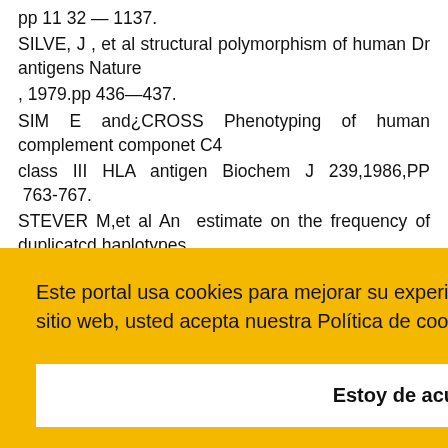pp 11 32 — 1137. SILVE, J , et al structural polymorphism of human Dr antigens Nature , 1979.pp 436—437. SIM E and¿CROSS Phenotyping of human complement componet C4 class III HLA antigen Biochem J 239,1986,PP 763-767. STEVER M,et al An estimate on the frequency of duplicatcd haplotypes
Este portal usa cookies para mejorar su experiencia de usuario. Al utilizar nuestro sitio web, usted acepta nuestra Política de cookies.
Estoy de acuerdo
and a presentation of link-age an association